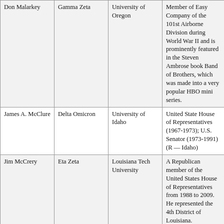| Don Malarkey | Gamma Zeta | University of Oregon | Member of Easy Company of the 101st Airborne Division during World War II and is prominently featured in the Steven Ambrose book Band of Brothers, which was made into a very popular HBO mini series. |
| James A. McClure | Delta Omicron | University of Idaho | United State House of Representatives (1967-1973); U.S. Senator (1973-1991) (R — Idaho) |
| Jim McCrery | Eta Zeta | Louisiana Tech University | A Republican member of the United States House of Representatives from 1988 to 2009. He represented the 4th District of Louisiana. |
| James Douglas "Mike" McKevitt | Delta Omicron | University of Idaho | United States Representative for Colorado's 1st District (1971-1973); Assistant United States Attorney General (1973-1974) (R - Colorado) |
| Robert Henry Michel | Zeta Phi | Bradley University | (D) - Representative (Illinois); United States Representative for Illinois 18th District who served for 38 years (1957-1995) |
| George J. Mitchell | Delta Psi | Bowdoin College | U.S. Senator (1980-1985); Former Senate majority leader (1989-1995); (D... |